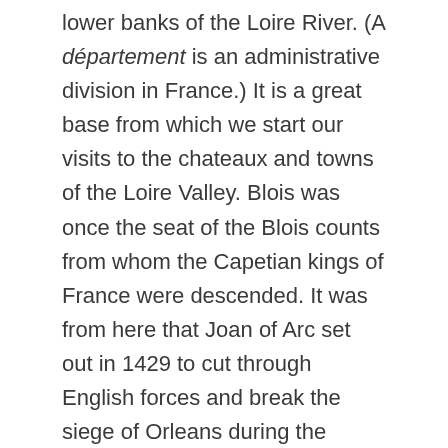lower banks of the Loire River. (A département is an administrative division in France.) It is a great base from which we start our visits to the chateaux and towns of the Loire Valley. Blois was once the seat of the Blois counts from whom the Capetian kings of France were descended. It was from here that Joan of Arc set out in 1429 to cut through English forces and break the siege of Orleans during the Hundred Years' War.
We will learn more from our local guide as we transfer to a coach and take a tour of the city.
Later in the day we will take a tour of Chateau de Chambord and Chateau de Cheverny. Chateau de Chambord was commissioned by Francois I of